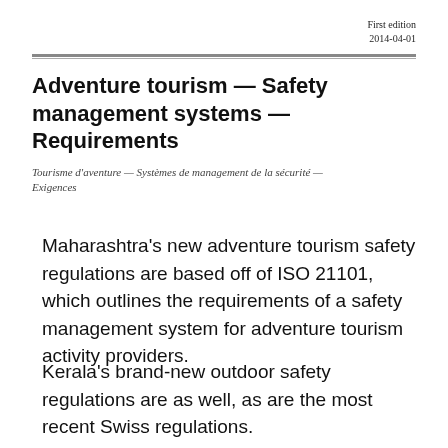First edition
2014-04-01
Adventure tourism — Safety management systems — Requirements
Tourisme d'aventure — Systèmes de management de la sécurité — Exigences
Maharashtra's new adventure tourism safety regulations are based off of ISO 21101, which outlines the requirements of a safety management system for adventure tourism activity providers.
Kerala's brand-new outdoor safety regulations are as well, as are the most recent Swiss regulations.